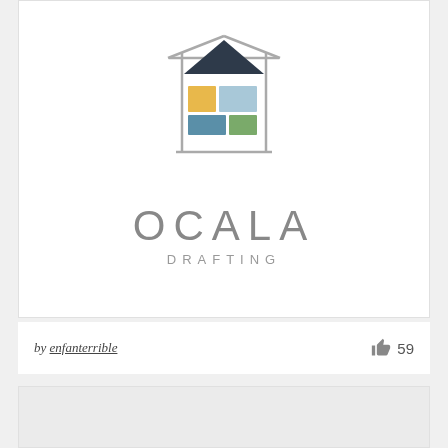[Figure (logo): Ocala Drafting logo: a house outline with colorful rectangles inside (yellow, light blue, teal, green squares/rectangles) and a dark triangle roof, with the text OCALA in large gray letters and DRAFTING below in smaller spaced letters]
by enfanterrible  👍 59